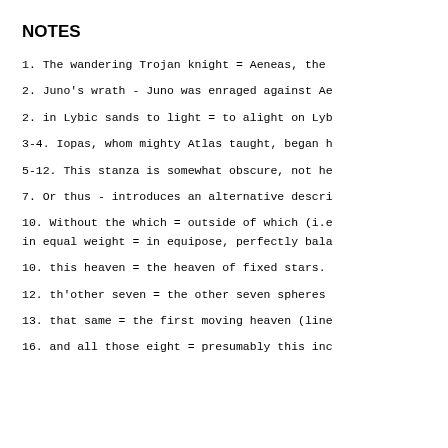NOTES
1.  The wandering Trojan knight = Aeneas, the
2.  Juno's wrath - Juno was enraged against Ae
2.  in Lybic sands to light = to alight on Lyb
3-4. Iopas, whom mighty Atlas taught, began h
5-12. This stanza is somewhat obscure, not he
7.  Or thus - introduces an alternative descri
10. Without the which = outside of which (i.e
    in equal weight = in equipose, perfectly bala
10. this heaven = the heaven of fixed stars.
12. th'other seven = the other seven spheres
13. that same = the first moving heaven (line
16. and all those eight = presumably this inc